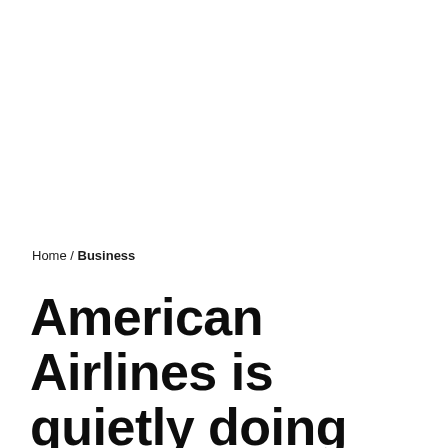Home / Business
American Airlines is quietly doing something that may appall customers